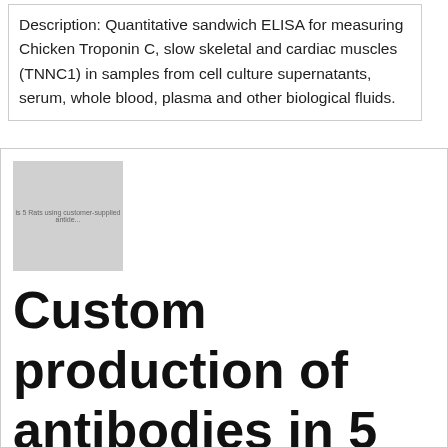Description: Quantitative sandwich ELISA for measuring Chicken Troponin C, slow skeletal and cardiac muscles (TNNC1) in samples from cell culture supernatants, serum, whole blood, plasma and other biological fluids.
[Figure (photo): Product image placeholder showing a faint label text on a light gray background]
Custom production of antibodies in 5 Rats using customer